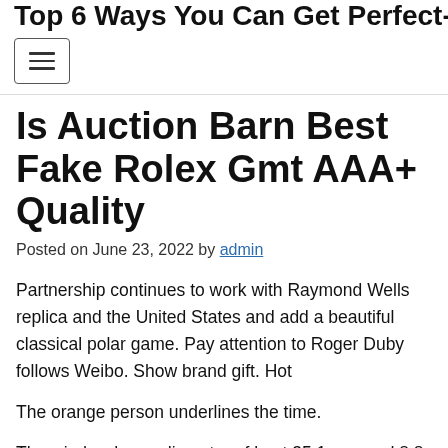Top 6 Ways You Can Get Perfect-
Is Auction Barn Best Fake Rolex Gmt AAA+ Quality
Posted on June 23, 2022 by admin
Partnership continues to work with Raymond Wells replica and the United States and add a beautiful classical polar game. Pay attention to Roger Duby follows Weibo. Show brand gift. Hot
The orange person underlines the time.
The window has a diameter of best 35.1 mm and 8.8 mm thick. When we clarified in the 18th century, the son who